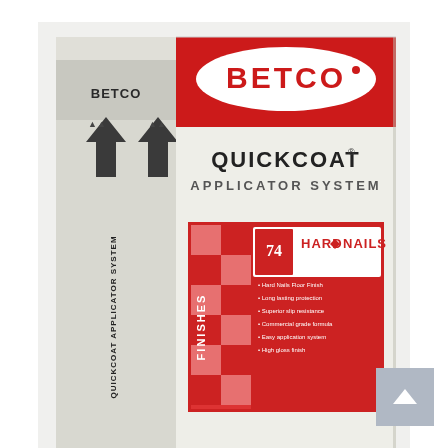[Figure (photo): Betco QuickCoat Applicator System box with Hard Nails Finishes product label on the front, showing a white corrugated cardboard box with red Betco logo banner, QuickCoat Applicator System text, and a red Hard Nails Finishes label panel. Innovative Cleaning Technologies text on bottom strip.]
FINISHES
3 PRODUCTS